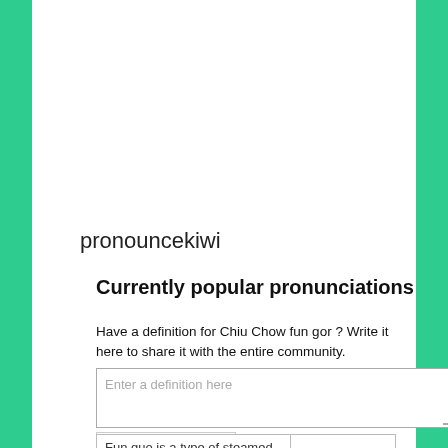pronouncekiwi
Currently popular pronunciations
Have a definition for Chiu Chow fun gor ? Write it here to share it with the entire community.
Enter a definition here
Add Definition
| Fun guo is a type of steamed |  |